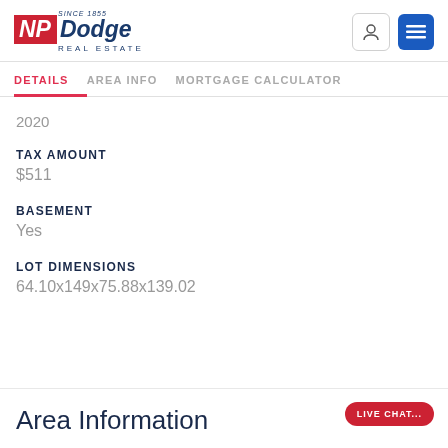[Figure (logo): NP Dodge Real Estate logo with red NP block and blue Dodge text, 'Since 1855' above, 'Real Estate' below]
DETAILS | AREA INFO | MORTGAGE CALCULATOR
2020
TAX AMOUNT
$511
BASEMENT
Yes
LOT DIMENSIONS
64.10x149x75.88x139.02
Area Information